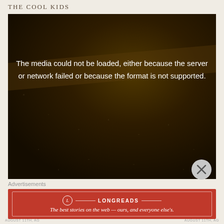THE COOL KIDS
[Figure (screenshot): Video player showing error message: 'The media could not be loaded, either because the server or network failed or because the format is not supported.' Dark brownish background with texture.]
Advertisements
[Figure (infographic): Longreads advertisement banner in red with the tagline: 'The best stories on the web — ours, and everyone else's.']
AUGUST 11TH, AG